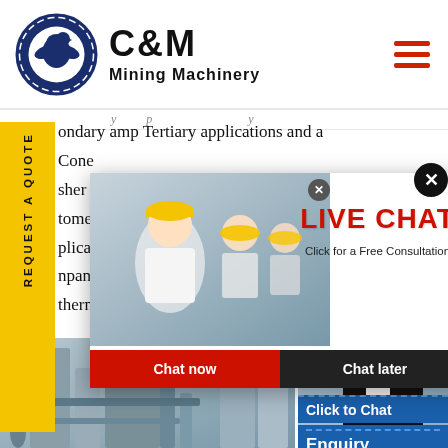[Figure (logo): C&M Mining Machinery logo with circular gear/eagle emblem in navy blue and bold C&M Mining Machinery text]
ondary amp Tertiary applications and a Cone sher to complete the range Tesab provide tomers application npanies thern Ir
[Figure (photo): Live Chat popup with workers in hard hats photo, LIVE CHAT heading in red, Click for a Free Consultation text, Chat now and Chat later buttons]
[Figure (photo): Industrial pipes/silos photograph at bottom left]
[Figure (photo): Customer support agent with headset on right side, Hours Online blue box, Click to Chat blue box, Enquiry text]